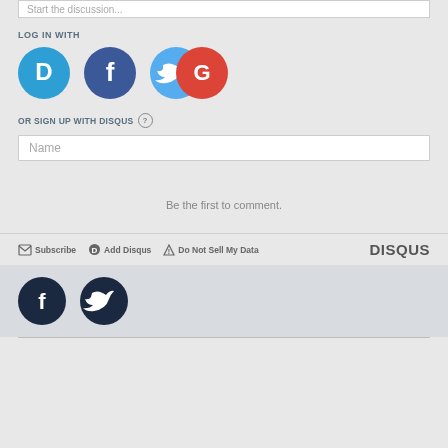Start the discussion...
LOG IN WITH
[Figure (logo): Four social login icons: Disqus (blue speech bubble with D), Facebook (dark blue circle with f), Twitter (light blue circle with bird), Google (red/white circle with G)]
OR SIGN UP WITH DISQUS ?
Name
Be the first to comment.
Subscribe  Add Disqus  Do Not Sell My Data  DISQUS
[Figure (logo): Two dark circular social media icons: Facebook (f) and Twitter (bird)]